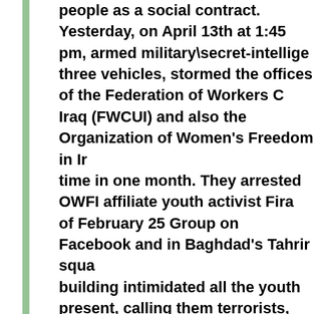people as a social contract. Yesterday, on April 13th at 1:45 pm, armed military\secret-intellige three vehicles, stormed the offices of the Federation of Workers C Iraq (FWCUI) and also the Organization of Women's Freedom in Ir time in one month. They arrested OWFI affiliate youth activist Fira of February 25 Group on Facebook and in Baghdad's Tahrir squa building intimidated all the youth present, calling them terrorists, organizing team of a group of demonstrators within Baghdad's w clearly shown their peaceful intentions, week after week. The arm blindfolded Firas Ali, handcuffed him, and took him away, where detained and tortured with the same feared methods used under armed forces had no court order for the arrest of Firas Ali, or for Alaa Nabil, another youth leader of February 25 Group, was arres manner on April 8th, and he remains in custody. It is thought that prisons close to the Baghdad International Airport, along with 17 Tahrir, but it is impossible to be sure. The Maliki government thinks it can silence the youth, determine become the signature characteristics of its rule - oppression and Saddam-style violations, group arrests, and torture will not deter demanding an end to corruption and to start to an era of equality any civilized society. The OWFI demands the immediate release of Firas Ali and Alaa N right to take to court all those who have given orders for arbitrary physically assaulted the youth activists. The OWFI also warns th further torture of freedom lovers such as Firas Ali and Alaa Nabi